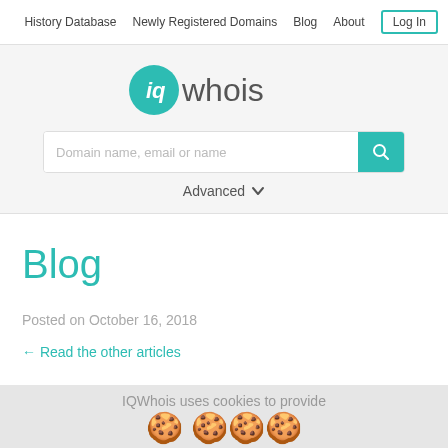History Database  Newly Registered Domains  Blog  About  Log In
[Figure (logo): IQWhois logo: teal circle with italic 'iq' followed by 'whois' in light gray text]
Domain name, email or name
Advanced ∨
Blog
Posted on October 16, 2018
← Read the other articles
IQWhois uses cookies to provide